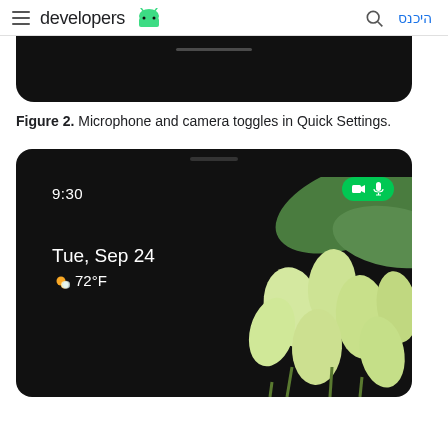developers היכנס
[Figure (screenshot): Bottom portion of a dark Android phone screen showing the bottom rounded edge with a home indicator bar]
Figure 2. Microphone and camera toggles in Quick Settings.
[Figure (screenshot): Android tablet lock screen showing time 9:30, date Tue Sep 24, weather 72°F, with green camera and microphone indicator pill in top right corner, flower wallpaper in background]